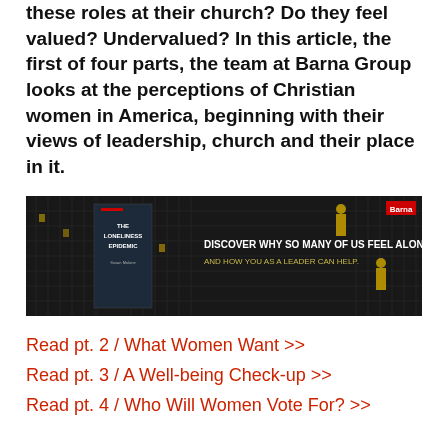these roles at their church? Do they feel valued? Undervalued? In this article, the first of four parts, the team at Barna Group looks at the perceptions of Christian women in America, beginning with their views of leadership, church and their place in it.
[Figure (illustration): Advertisement banner for 'The Loneliness Epidemic' book by Barna. Dark background with grid-like building pattern, a book cover on the left, yellow human figure icons, and text: 'DISCOVER WHY SO MANY OF US FEEL ALONE— AND HOW YOU AS A LEADER CAN HELP.' Barna logo in red top right.]
Read pt. 2 / What Women Want >>
Read pt. 3 / A Well-being Check-up >>
Read pt. 4 / Who Will Women Vote For? >>